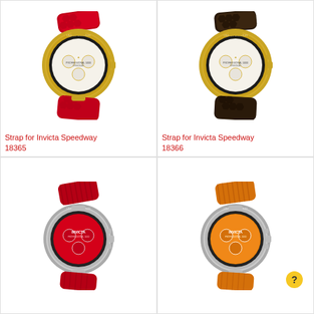[Figure (photo): Invicta Speedway watch 18365 with gold case and red patterned leather strap]
Strap for Invicta Speedway 18365
[Figure (photo): Invicta Speedway watch 18366 with gold case and dark brown patterned leather strap]
Strap for Invicta Speedway 18366
[Figure (photo): Invicta Speedway watch with silver case and red leather strap, red dial]
[Figure (photo): Invicta Speedway watch with silver case and orange leather strap, orange dial]